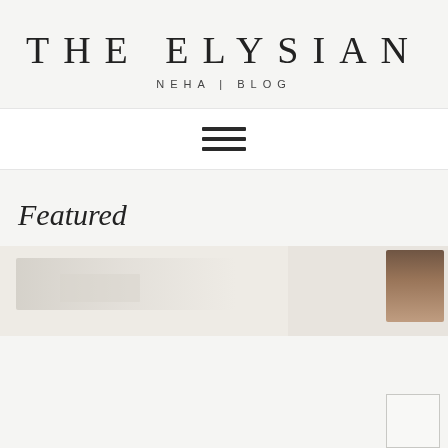THE ELYSIAN
NEHA | BLOG
[Figure (other): Hamburger menu icon with three horizontal lines]
Featured
[Figure (photo): Two partially visible featured blog post images at bottom of page, left image is light/white blurry content, right image shows a dark brown object on white background]